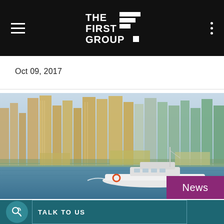THE FIRST GROUP
Oct 09, 2017
[Figure (photo): Dubai Marina skyline with tall residential skyscrapers viewed from the water, a white luxury yacht in the foreground on blue water, with a News badge overlay in purple at bottom right]
News
TALK TO US